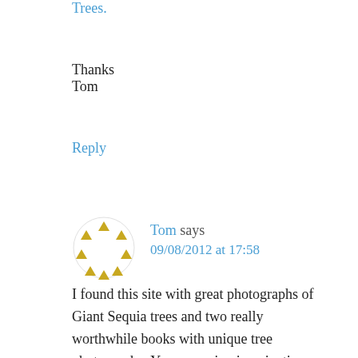Trees.
Thanks
Tom
Reply
Tom says
09/08/2012 at 17:58
I found this site with great photographs of Giant Sequia trees and two really worthwhile books with unique tree photography. You can enjoy imaginative photographs of the giant sequias on